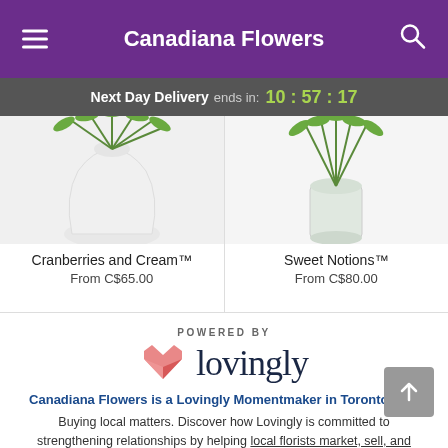Canadiana Flowers
Next Day Delivery ends in: 10:57:17
[Figure (photo): Cranberries and Cream flower arrangement in white vase]
Cranberries and Cream™
From C$65.00
[Figure (photo): Sweet Notions flower arrangement in white vase]
Sweet Notions™
From C$80.00
[Figure (logo): Lovingly logo with heart icon and text 'lovingly']
POWERED BY
Canadiana Flowers is a Lovingly Momentmaker in Toronto, ON.
Buying local matters. Discover how Lovingly is committed to strengthening relationships by helping local florists market, sell, and deliver their floral designs online.